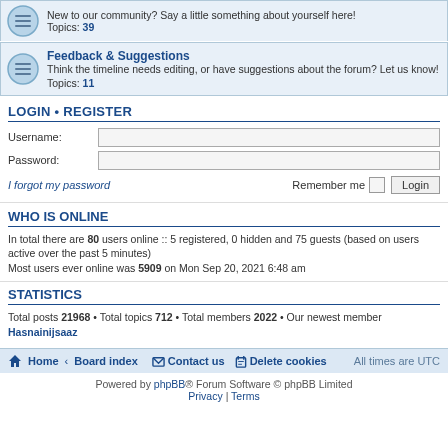New to our community? Say a little something about yourself here! Topics: 39
Feedback & Suggestions
Think the timeline needs editing, or have suggestions about the forum? Let us know! Topics: 11
LOGIN • REGISTER
Username:
Password:
I forgot my password
Remember me  Login
WHO IS ONLINE
In total there are 80 users online :: 5 registered, 0 hidden and 75 guests (based on users active over the past 5 minutes)
Most users ever online was 5909 on Mon Sep 20, 2021 6:48 am
STATISTICS
Total posts 21968 • Total topics 712 • Total members 2022 • Our newest member Hasnainijsaaz
Home · Board index   Contact us   Delete cookies   All times are UTC
Powered by phpBB® Forum Software © phpBB Limited
Privacy | Terms